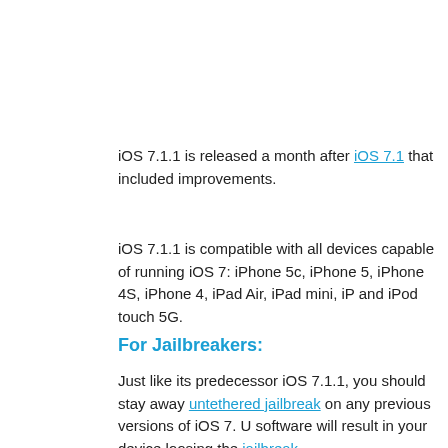iOS 7.1.1 is released a month after iOS 7.1 that included improvements.
iOS 7.1.1 is compatible with all devices capable of running iOS 7: iPhone 5c, iPhone 5, iPhone 4S, iPhone 4, iPad Air, iPad mini, iPad 2, iPad 2 and iPod touch 5G.
For Jailbreakers:
Just like its predecessor iOS 7.1.1, you should stay away if you have an untethered jailbreak on any previous versions of iOS 7. Updating the software will result in your device loosing the jailbreak.